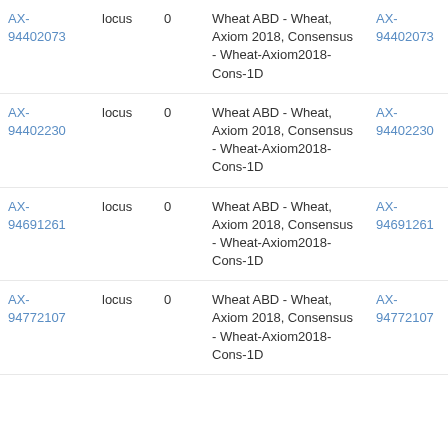| ID | type | num | description | ID | type | val |
| --- | --- | --- | --- | --- | --- | --- |
| AX-94402073 | locus | 0 | Wheat ABD - Wheat, Axiom 2018, Consensus - Wheat-Axiom2018-Cons-1D | AX-94402073 | locus | 23 (c |
| AX-94402230 | locus | 0 | Wheat ABD - Wheat, Axiom 2018, Consensus - Wheat-Axiom2018-Cons-1D | AX-94402230 | locus | 23 (c |
| AX-94691261 | locus | 0 | Wheat ABD - Wheat, Axiom 2018, Consensus - Wheat-Axiom2018-Cons-1D | AX-94691261 | locus | 23 (c |
| AX-94772107 | locus | 0 | Wheat ABD - Wheat, Axiom 2018, Consensus - Wheat-Axiom2018-Cons-1D (truncated) | AX-94772107 | locus | 23 (c |